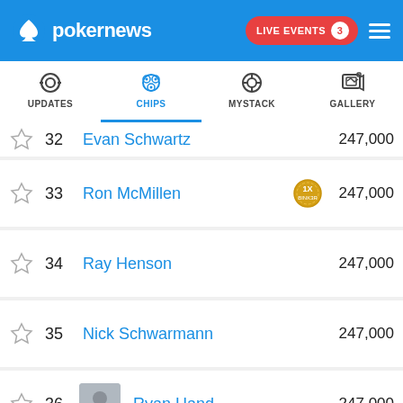pokernews — LIVE EVENTS 3
| Rank | Name | Chips |
| --- | --- | --- |
| 32 | Evan Schwartz | 247,000 |
| 33 | Ron McMillen | 247,000 |
| 34 | Ray Henson | 247,000 |
| 35 | Nick Schwarmann | 247,000 |
| 36 | Ryan Hand | 247,000 |
| 37 | Renan Bruschi | 247,000 |